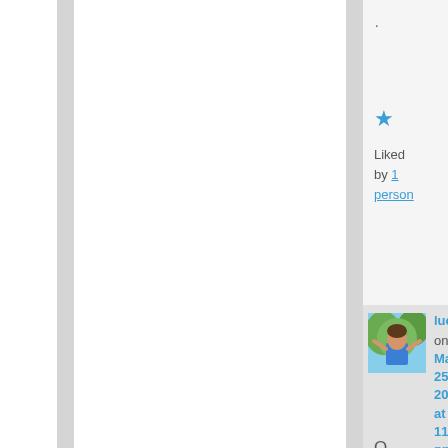.
[Figure (other): Blue star icon (liked/favorite button)]
Liked by 1 person
[Figure (photo): Profile photo of luckyotter - person in blue top outdoors]
luckyotter on May 25, 2015 at 11:11 pm said:
O n t h e